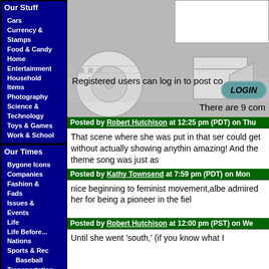Our Stuff
Cars
Currency & Stamps
Food & Candy
Home Entertainment
Household Items
Photography
Science & Technology
Toys & Games
Work & School
Our Times
Bygone Icons
Companies
Fashion & Fads
Issues & Events
Life
Life Before...
Nations
Sports & Rec
Baseball
Transportation
Other
directed by
Registered users can log in to post co
LOGIN
There are 9 com
Posted by Robert Hutchison at 12:25 pm (PDT) on Thu
That scene where she was put in that sen could get without actually showing anythin amazing! And the theme song was just as
Posted by Kathy Townsend at 7:59 pm (PDT) on Mon
nice beginning to feminist movement,albe admired her for being a pioneer in the fiel
Posted by Robert Hutchison at 12:00 pm (PST) on We
Until she went 'south,' (if you know what I